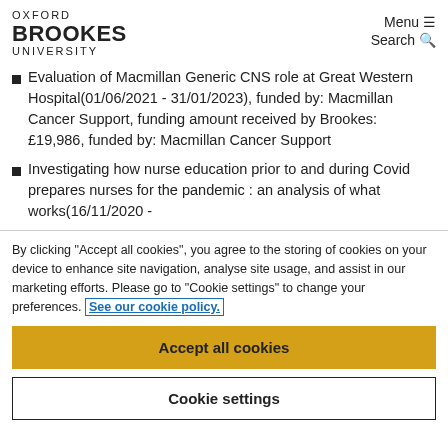OXFORD BROOKES UNIVERSITY | Menu ≡ | Search 🔍
Evaluation of Macmillan Generic CNS role at Great Western Hospital(01/06/2021 - 31/01/2023), funded by: Macmillan Cancer Support, funding amount received by Brookes: £19,986, funded by: Macmillan Cancer Support
Investigating how nurse education prior to and during Covid prepares nurses for the pandemic : an analysis of what works(16/11/2020 -
By clicking "Accept all cookies", you agree to the storing of cookies on your device to enhance site navigation, analyse site usage, and assist in our marketing efforts. Please go to "Cookie settings" to change your preferences. See our cookie policy.
Accept all cookies
Cookie settings